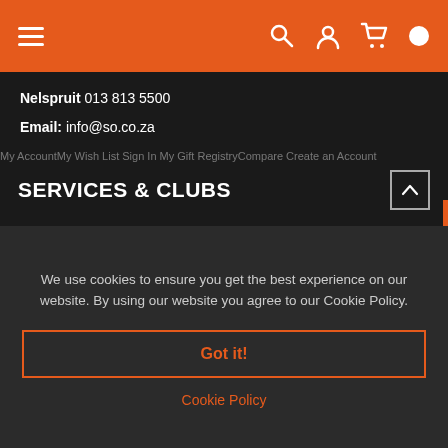Navigation header with hamburger menu, search, account, and cart icons
Nelspruit 013 813 5500
Email: info@so.co.za
My AccountMy Wish List Sign In My Gift RegistryCompare Create an Account
SERVICES & CLUBS
Safari Outdoor Hunting App
SOSC: Safari Outdoor Shooting Club
SOTC: Safari Outdoor Training Centre
We use cookies to ensure you get the best experience on our website. By using our website you agree to our Cookie Policy.
Got it!
Cookie Policy